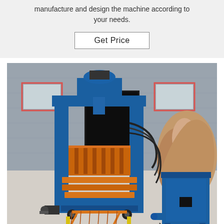manufacture and design the machine according to your needs.
Get Price
[Figure (photo): A large blue hydraulic brick/block making machine with orange conveyor trays, hydraulic hoses, and motors, photographed outdoors in front of an industrial warehouse. A blue auxiliary unit and a rock formation are visible in the background.]